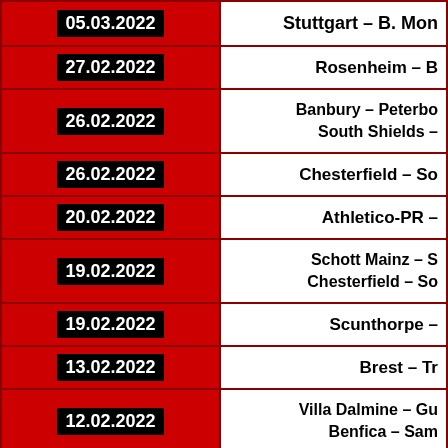| Date | Match |
| --- | --- |
| 05.03.2022 | Stuttgart – B. Mon… |
| 27.02.2022 | Rosenheim – B… |
| 26.02.2022 | Banbury – Peterbo… / South Shields –… |
| 26.02.2022 | Chesterfield – So… |
| 20.02.2022 | Athletico-PR –… |
| 19.02.2022 | Schott Mainz – S… / Chesterfield – So… |
| 19.02.2022 | Scunthorpe –… |
| 13.02.2022 | Brest – Tr… |
| 12.02.2022 | Villa Dalmine – Gu… / Benfica – Sam… |
| 12.02.2022 | Parma – Por… |
| 06.02.2022 | Dortmund – Baye… |
| 05.02.2022 | Stal Mielec –… / Notts Co –… |